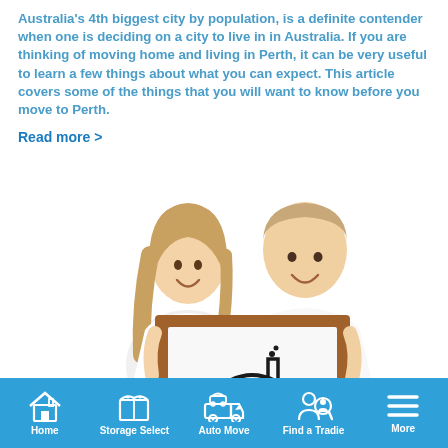Australia's 4th biggest city by population, is a definite contender when one is deciding on a city to live in in Australia. If you are thinking of moving home and living in Perth, it can be very useful to learn a few things about what you can expect. This article covers some of the things that you will want to know before you move to Perth.
Read more >
[Figure (photo): A man and woman in white t-shirts smiling, holding a wooden-framed whiteboard with a hand-drawn house sketch on it.]
Home | Storage Select | Auto Move | Find a Tradie | More